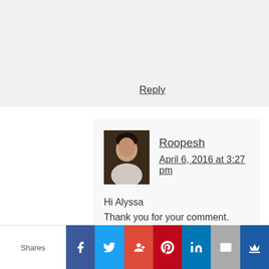Reply
[Figure (photo): Small avatar photo of Roopesh, a man in a light-colored shirt against a dark background]
Roopesh
April 6, 2016 at 3:27 pm
Hi Alyssa Thank you for your comment. Yes, I also researched Neuromonics.It is pretty steep at moment.I am happy to hear that the buzzing noises in your ear had stopped.That must be an amazing feeling.
Shares | Facebook | Twitter | Google+ | Pinterest | LinkedIn | Email | Crown